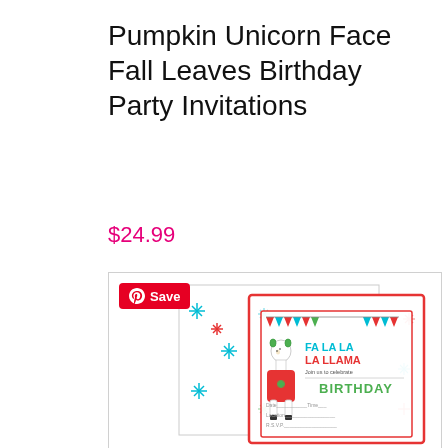Pumpkin Unicorn Face Fall Leaves Birthday Party Invitations
$24.99
[Figure (photo): Product image of birthday party invitations featuring a Fa La La La Llama Christmas/holiday design. Shows two overlapping invitation cards with colorful snowflake pattern background, red and teal/green bunting, a llama wearing a red sweater, and text reading 'FA LA LA LA LLAMA Join us to celebrate BIRTHDAY Date Time Location'. A red Pinterest Save button is overlaid in the top-left corner of the image frame.]